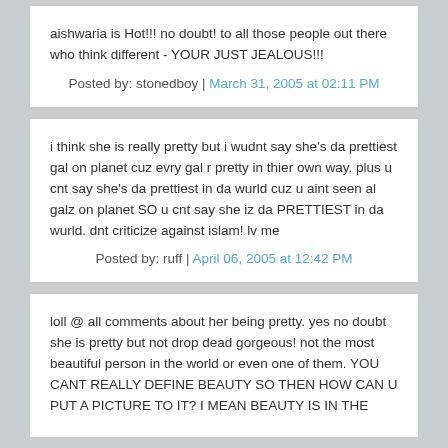aishwaria is Hot!!! no doubt! to all those people out there who think different - YOUR JUST JEALOUS!!!
Posted by: stonedboy | March 31, 2005 at 02:11 PM
i think she is really pretty but i wudnt say she's da prettiest gal on planet cuz evry gal r pretty in thier own way. plus u cnt say she's da prettiest in da wurld cuz u aint seen al galz on planet SO u cnt say she iz da PRETTIEST in da wurld. dnt criticize against islam! lv me
Posted by: ruff | April 06, 2005 at 12:42 PM
loll @ all comments about her being pretty. yes no doubt she is pretty but not drop dead gorgeous! not the most beautiful person in the world or even one of them. YOU CANT REALLY DEFINE BEAUTY SO THEN HOW CAN U PUT A PICTURE TO IT? I MEAN BEAUTY IS IN THE